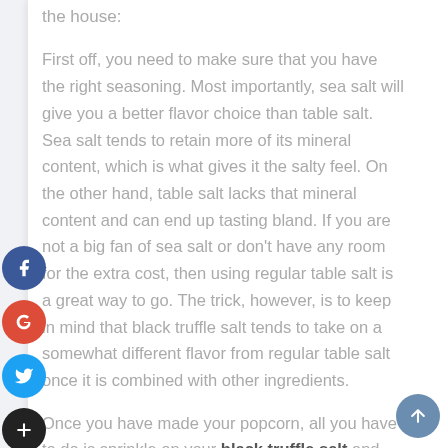the house:
First off, you need to make sure that you have the right seasoning. Most importantly, sea salt will give you a better flavor choice than table salt. Sea salt tends to retain more of its mineral content, which is what gives it the salty feel. On the other hand, table salt lacks that mineral content and can end up tasting bland. If you are not a big fan of sea salt or don't have any room for the extra cost, then using regular table salt is a great way to go. The trick, however, is to keep in mind that black truffle salt tends to take on a somewhat different flavor from regular table salt once it is combined with other ingredients.
Once you have made your popcorn, all you have to do is sprinkle on your black truffle salt and turn the oven on. Once the popcorn has popped and the truffles have begun to spin, you will want to take a